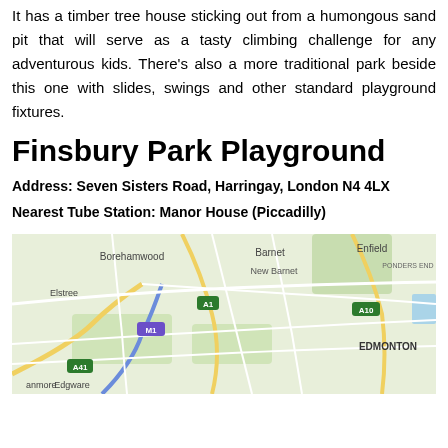It has a timber tree house sticking out from a humongous sand pit that will serve as a tasty climbing challenge for any adventurous kids. There's also a more traditional park beside this one with slides, swings and other standard playground fixtures.
Finsbury Park Playground
Address: Seven Sisters Road, Harringay, London N4 4LX
Nearest Tube Station: Manor House (Piccadilly)
[Figure (map): Google Maps showing area around North London including Borehamwood, Barnet, New Barnet, Enfield, Ponders End, Elstree, A1, M1, A41, A10, Edmonton, Edgware, and Stanmore with road network and green areas.]